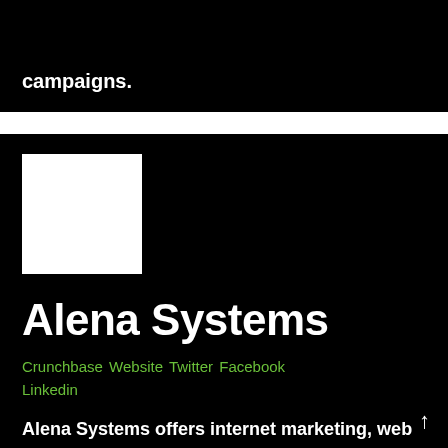campaigns.
[Figure (logo): White square logo placeholder on black background]
Alena Systems
Crunchbase Website Twitter Facebook Linkedin
Alena Systems offers internet marketing, web design, CRM, email marketing, and web